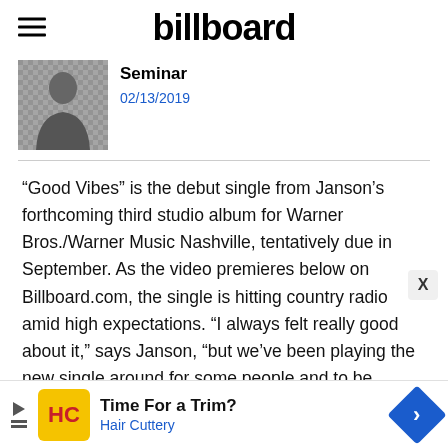billboard
[Figure (photo): Small thumbnail photo of a person in a checkered/plaid shirt]
Seminar
02/13/2019
“Good Vibes” is the debut single from Janson’s forthcoming third studio album for Warner Bros./Warner Music Nashville, tentatively due in September. As the video premieres below on Billboard.com, the single is hitting country radio amid high expectations. “I always felt really good about it,” says Janson, “but we’ve been playing the new single around for some people and to be honest with you, it’s kind of created a life of its own.”
[Figure (screenshot): Advertisement banner for Hair Cuttery: Time For a Trim? Hair Cuttery, with yellow HC logo and blue navigation arrow icon]